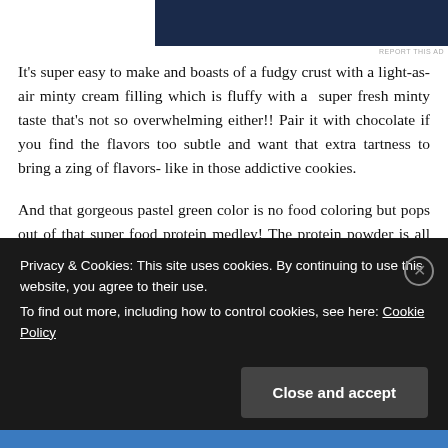[Figure (photo): Dark blue advertisement banner image at the top]
REPORT THIS AD
It’s super easy to make and boasts of a fudgy crust with a light-as-air minty cream filling which is fluffy with a  super fresh minty taste that’s not so overwhelming either!! Pair it with chocolate if you find the flavors too subtle and want that extra tartness to bring a zing of flavors- like in those addictive cookies.
And that gorgeous pastel green color is no food coloring but pops out of that super food protein medley! The protein powder is all organic, non-gmo, vegan and  gluten free. It
Privacy & Cookies: This site uses cookies. By continuing to use this website, you agree to their use.
To find out more, including how to control cookies, see here: Cookie Policy
Close and accept